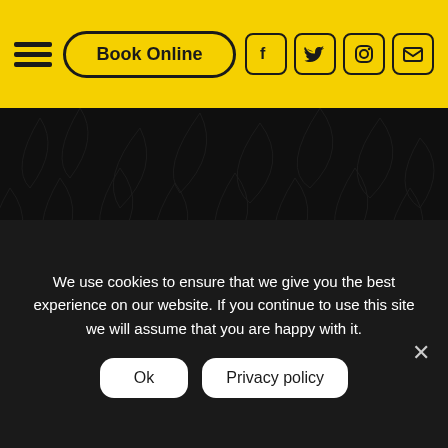Book Online | Facebook | Twitter | Instagram | Email
[Figure (screenshot): Dark tropical leaf pattern background section 1]
[Figure (illustration): Circular logo illustration of a man in tropical shirt holding a window squeegee/screen with a palm tree and blue sky background]
[Figure (screenshot): Dark tropical leaf pattern background section 2]
We use cookies to ensure that we give you the best experience on our website. If you continue to use this site we will assume that you are happy with it.
Ok
Privacy policy